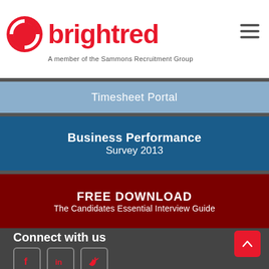[Figure (logo): Brightred logo with red circular S icon and red bold text 'brightred', tagline 'A member of the Sammons Recruitment Group']
Timesheet Portal
Business Performance Survey 2013
FREE DOWNLOAD The Candidates Essential Interview Guide
Connect with us
[Figure (illustration): Social media icons: Facebook, LinkedIn, Twitter in outlined rounded square boxes]